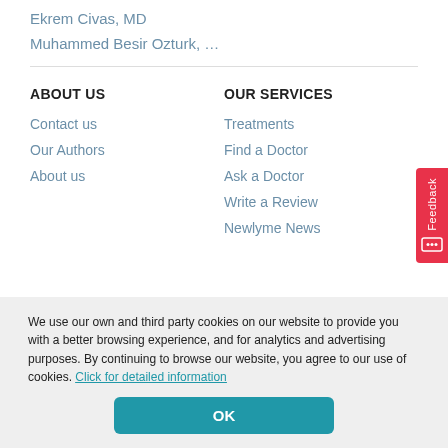Ekrem Civas, MD
Muhammed Besir Ozturk, …
ABOUT US
Contact us
Our Authors
About us
OUR SERVICES
Treatments
Find a Doctor
Ask a Doctor
Write a Review
Newlyme News
Feedback
We use our own and third party cookies on our website to provide you with a better browsing experience, and for analytics and advertising purposes. By continuing to browse our website, you agree to our use of cookies. Click for detailed information
OK